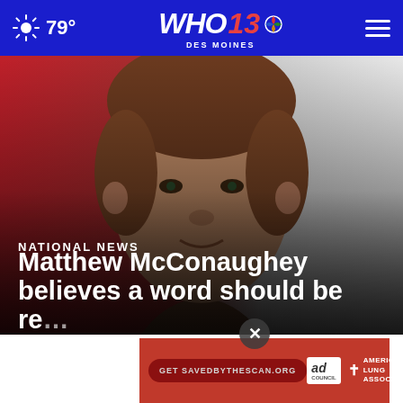79° WHO 13 DES MOINES
[Figure (photo): Close-up portrait of Matthew McConaughey, a man with brown hair, looking at the camera, with a blurred red and white background]
NATIONAL NEWS
Matthew McConaughey believes a word should be re...
[Figure (infographic): Red advertisement banner with 'Get SAVEDBYTHESCAN.ORG' button, Ad Council logo, and American Lung Association logo]